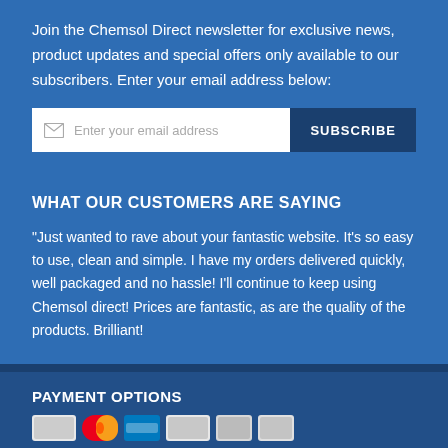Join the Chemsol Direct newsletter for exclusive news, product updates and special offers only available to our subscribers. Enter your email address below:
[Figure (screenshot): Email subscription input field with placeholder 'Enter your email address' and a SUBSCRIBE button]
WHAT OUR CUSTOMERS ARE SAYING
"Just wanted to rave about your fantastic website. It's so easy to use, clean and simple. I have my orders delivered quickly, well packaged and no hassle! I'll continue to keep using Chemsol direct! Prices are fantastic, as are the quality of the products. Brilliant!
PAYMENT OPTIONS
[Figure (logo): Payment method icons including Mastercard, and other card logos]